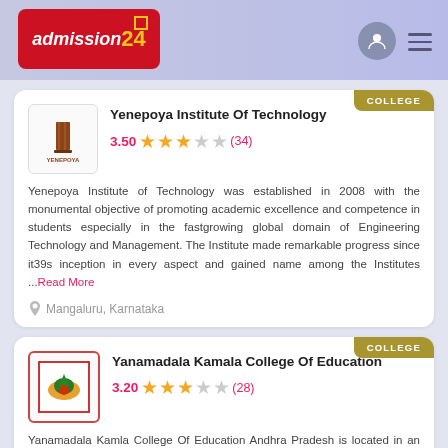admission24 | navigation header
Yenepoya Institute Of Technology
3.50 ★★★☆☆ (34)
Yenepoya Institute of Technology was established in 2008 with the monumental objective of promoting academic excellence and competence in students especially in the fastgrowing global domain of Engineering Technology and Management. The Institute made remarkable progress since it39s inception in every aspect and gained name among the Institutes ...Read More
Mangaluru, Karnataka
Yanamadala Kamala College Of Education
3.20 ★★★☆☆ (28)
Yanamadala Kamla College Of Education Andhra Pradesh is located in an enchanting environment free from pollution. The